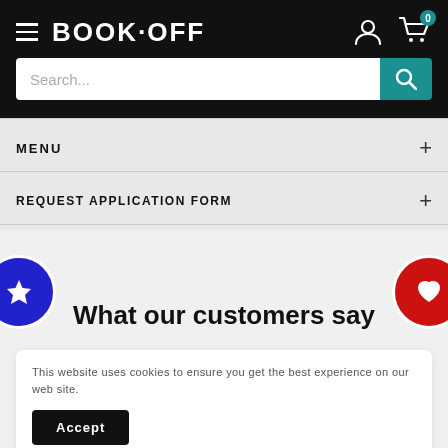[Figure (screenshot): Book-Off website header with hamburger menu, BOOK·OFF logo, user/cart icons, and teal search bar]
MENU
REQUEST APPLICATION FORM
What our customers say
This website uses cookies to ensure you get the best experience on our web site.
Accept